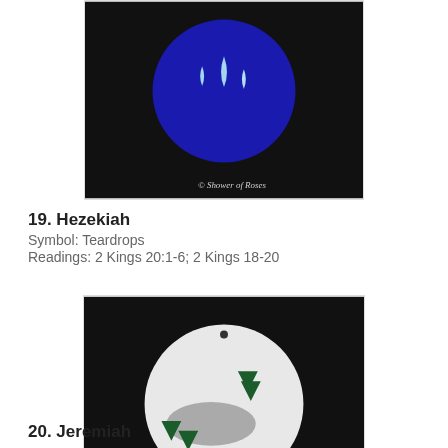[Figure (photo): Felt ornament on black background showing a blue circle with light blue teardrop shapes, watermarked 'Shower of Roses']
19. Hezekiah
Symbol: Teardrops
Readings: 2 Kings 20:1-6; 2 Kings 18-20
[Figure (photo): Felt ornament on black background showing a white circle with a gray mound/hill and dark green tree/branch shapes, watermarked 'Shower of Roses']
20. Jeremiah